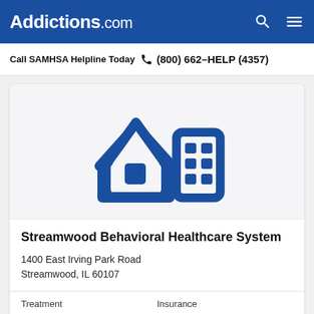Addictions.com
Call SAMHSA Helpline Today  (800) 662-HELP (4357)
[Figure (illustration): Blue icon of two buildings (house and apartment/office block) representing a behavioral healthcare facility]
Streamwood Behavioral Healthcare System
1400 East Irving Park Road
Streamwood, IL 60107
Treatment
Outpatient  Inpatient
Insurance
Medicaid  Private